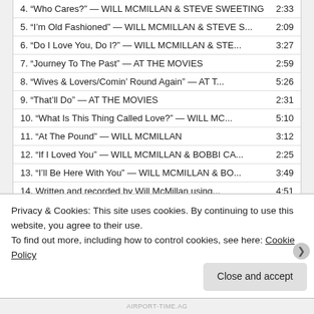| Track | Time |
| --- | --- |
| 4. “Who Cares?” — WILL MCMILLAN & STEVE SWEETING | 2:33 |
| 5. “I’m Old Fashioned” — WILL MCMILLAN & STEVE S... | 2:09 |
| 6. “Do I Love You, Do I?” — WILL MCMILLAN & STE... | 3:27 |
| 7. “Journey To The Past” — AT THE MOVIES | 2:59 |
| 8. “Wives & Lovers/Comin’ Round Again” — AT T... | 5:26 |
| 9. “That’ll Do” — AT THE MOVIES | 2:31 |
| 10. “What Is This Thing Called Love?” — WILL MC... | 5:10 |
| 11. “At The Pound” — WILL MCMILLAN | 3:12 |
| 12. “If I Loved You” — WILL MCMILLAN & BOBBI CA... | 2:25 |
| 13. “I’ll Be Here With You” — WILL MCMILLAN & BO... | 3:49 |
| 14. Written and recorded by Will McMillan using... | 4:51 |
| 15. “And So It Goes” — WILL MCMILLAN & BOBBI C... | 5:05 |
| 16. “Snowflake Song (peepermix)” — GRATIS PROBE | 6:14 |
Privacy & Cookies: This site uses cookies. By continuing to use this website, you agree to their use.
To find out more, including how to control cookies, see here: Cookie Policy